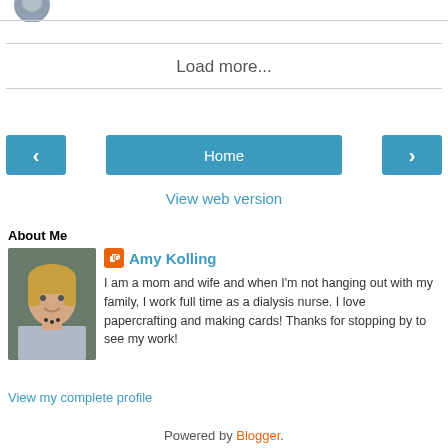[Figure (photo): Partial profile avatar image at top left]
Load more...
[Figure (other): Navigation bar with left arrow button, Home button, and right arrow button]
View web version
About Me
[Figure (photo): Profile photo of Amy Kolling, a woman with short blonde hair, smiling]
Amy Kolling
I am a mom and wife and when I'm not hanging out with my family, I work full time as a dialysis nurse. I love papercrafting and making cards! Thanks for stopping by to see my work!
View my complete profile
Powered by Blogger.